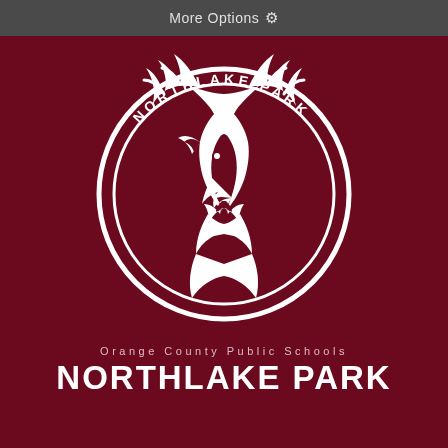More Options ⚙
[Figure (logo): Northlake Park school logo: white deer head with antlers inside a circular ring with text 'NORTHLAKE PARK' curved along the bottom, on a dark maroon background]
Orange County Public Schools
NORTHLAKE PARK